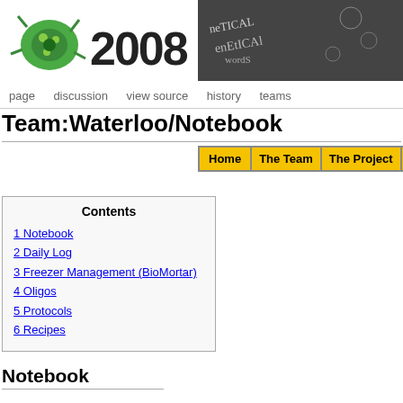[Figure (screenshot): Website header with iGEM 2008 logo (green microbe icon on left, '2008' text in bold) and a chalkboard-style genetic/biology image on the right showing text like 'GENETIC']
page   discussion   view source   history   teams
Team:Waterloo/Notebook
[Figure (other): Navigation button bar with yellow buttons: Home | The Team | The Project | Parts Subm[itted]]
Contents
1 Notebook
2 Daily Log
3 Freezer Management (BioMortar)
4 Oligos
5 Protocols
6 Recipes
Notebook